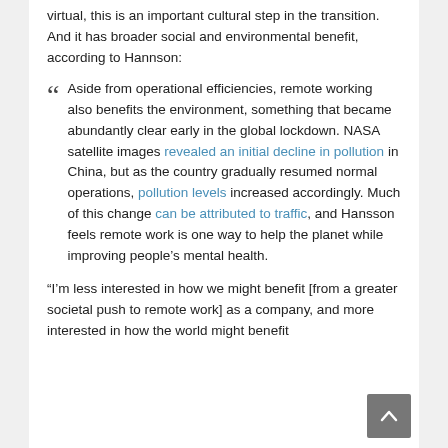virtual, this is an important cultural step in the transition. And it has broader social and environmental benefit, according to Hannson:
Aside from operational efficiencies, remote working also benefits the environment, something that became abundantly clear early in the global lockdown. NASA satellite images revealed an initial decline in pollution in China, but as the country gradually resumed normal operations, pollution levels increased accordingly. Much of this change can be attributed to traffic, and Hansson feels remote work is one way to help the planet while improving people's mental health.
“I’m less interested in how we might benefit [from a greater societal push to remote work] as a company, and more interested in how the world might benefit